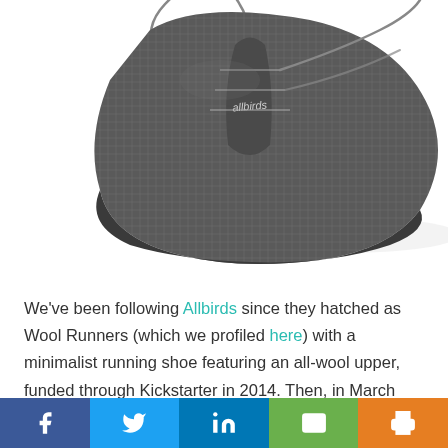[Figure (photo): Allbirds wool running shoe in dark grey/charcoal color, top-down view showing laces and the 'allbirds' brand tag on the tongue, on white background.]
We've been following Allbirds since they hatched as Wool Runners (which we profiled here) with a minimalist running shoe featuring an all-wool upper, funded through Kickstarter in 2014. Then, in March this year, the company (now rebranded as Allbirds) launched its first publicly available shoe.
Back in New Zealand from the company's
[Figure (infographic): Social media share bar with Facebook (blue), Twitter (light blue), LinkedIn (dark blue), Email (green), and Print (orange) buttons.]